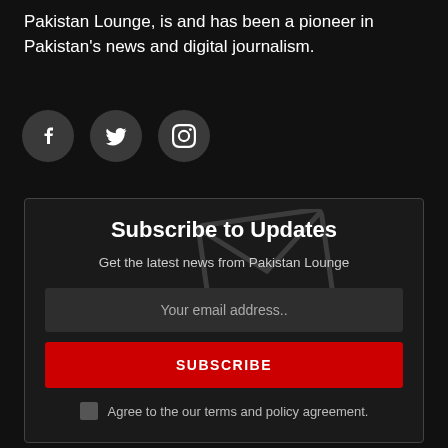Pakistan Lounge, is and has been a pioneer in Pakistan's news and digital journalism.
[Figure (infographic): Three social media icons in dark circular buttons: Facebook (f), Twitter (bird), Instagram (camera)]
Subscribe to Updates
Get the latest news from Pakistan Lounge
Your email address..
SUBSCRIBE
Agree to the our terms and policy agreement.